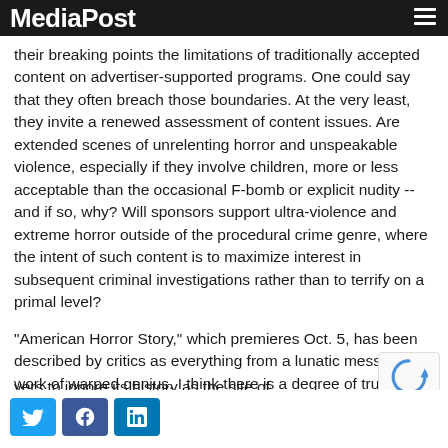MediaPost
their breaking points the limitations of traditionally accepted content on advertiser-supported programs. One could say that they often breach those boundaries. At the very least, they invite a renewed assessment of content issues. Are extended scenes of unrelenting horror and unspeakable violence, especially if they involve children, more or less acceptable than the occasional F-bomb or explicit nudity -- and if so, why? Will sponsors support ultra-violence and extreme horror outside of the procedural crime genre, where the intent of such content is to maximize interest in subsequent criminal investigations rather than to terrify on a primal level?
"American Horror Story," which premieres Oct. 5, has been described by critics as everything from a lunatic mess to a work of warped genius. I think there is a degree of truth in both statements. It's all about a Boston family in crisis that tries to start over by moving into a creepy Los Angeles home, the price of which has been sufficiently reduced to ... vers to ignore its history as the site of ...